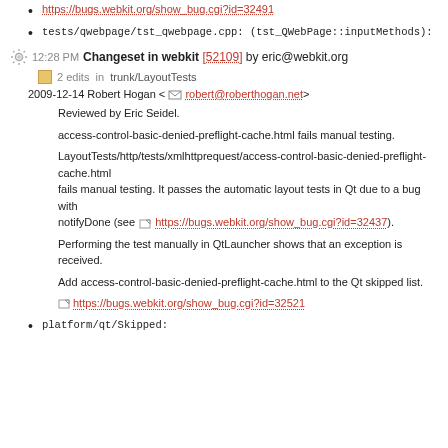tests/qwebpage/tst_qwebpage.cpp: (tst_QWebPage::inputMethods):
12:28 PM Changeset in webkit [52109] by eric@webkit.org
2 edits in trunk/LayoutTests
2009-12-14 Robert Hogan <robert@roberthogan.net>
Reviewed by Eric Seidel.
access-control-basic-denied-preflight-cache.html fails manual testing.
LayoutTests/http/tests/xmlhttprequest/access-control-basic-denied-preflight-cache.html fails manual testing. It passes the automatic layout tests in Qt due to a bug with notifyDone (see https://bugs.webkit.org/show_bug.cgi?id=32437).
Performing the test manually in QtLauncher shows that an exception is received.
Add access-control-basic-denied-preflight-cache.html to the Qt skipped list.
https://bugs.webkit.org/show_bug.cgi?id=32521
platform/qt/Skipped: